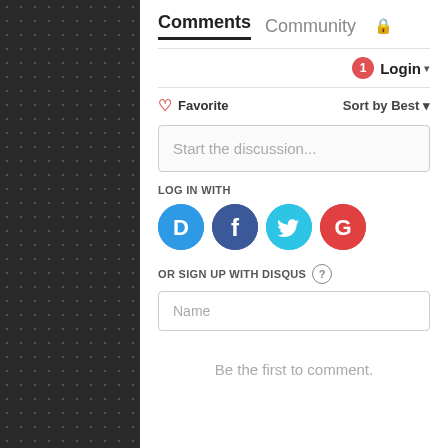[Figure (screenshot): Dark textured background with circular dot pattern]
Comments  Community  🔒
1 Login ▾
♡ Favorite    Sort by Best ▾
Start the discussion...
LOG IN WITH
[Figure (logo): Social login icons: Disqus (D), Facebook (f), Twitter bird, Google (G)]
OR SIGN UP WITH DISQUS ?
Name
Be the first to comment.